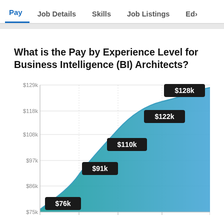Pay  Job Details  Skills  Job Listings  Ed...
What is the Pay by Experience Level for Business Intelligence (BI) Architects?
[Figure (area-chart): What is the Pay by Experience Level for Business Intelligence (BI) Architects?]